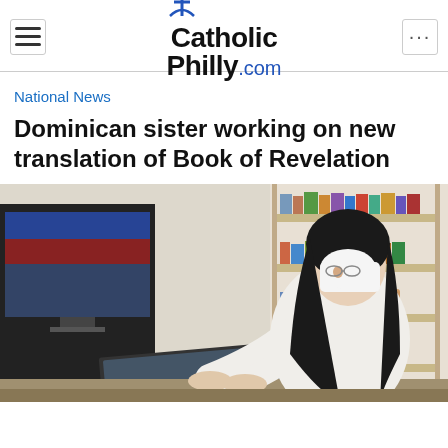CatholicPhilly.com
National News
Dominican sister working on new translation of Book of Revelation
[Figure (photo): A Dominican sister in white habit and black veil sits at a desk working on a laptop computer, with bookshelves visible in the background and a monitor to the left.]